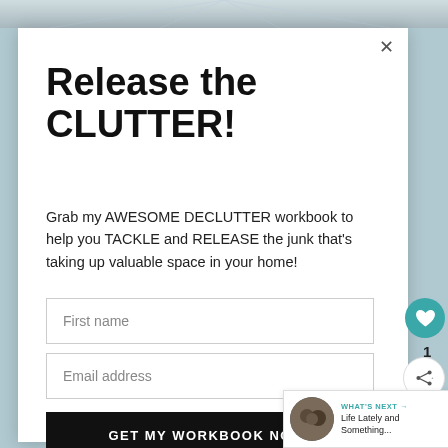[Figure (screenshot): Top decorative image strip showing a light grey/blue ceiling texture]
Release the CLUTTER!
Grab my AWESOME DECLUTTER workbook to help you TACKLE and RELEASE the junk that's taking up valuable space in your home!
First name
Email address
GET MY WORKBOOK NOW!
WHAT'S NEXT → Life Lately and Something...